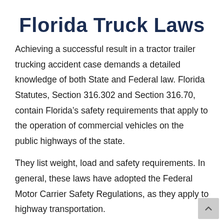Florida Truck Laws
Achieving a successful result in a tractor trailer trucking accident case demands a detailed knowledge of both State and Federal law. Florida Statutes, Section 316.302 and Section 316.70, contain Florida’s safety requirements that apply to the operation of commercial vehicles on the public highways of the state.
They list weight, load and safety requirements. In general, these laws have adopted the Federal Motor Carrier Safety Regulations, as they apply to highway transportation.